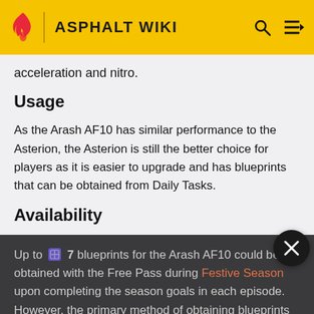ASPHALT WIKI
acceleration and nitro.
Usage
As the Arash AF10 has similar performance to the Asterion, the Asterion is still the better choice for players as it is easier to upgrade and has blueprints that can be obtained from Daily Tasks.
Availability
Up to 7 blueprints for the Arash AF10 could be obtained with the Free Pass during Festive Season upon completing the season goals in each episode. However, the primary method of obtaining blueprints for the AF10 was through purchase of the Legend Pass during the